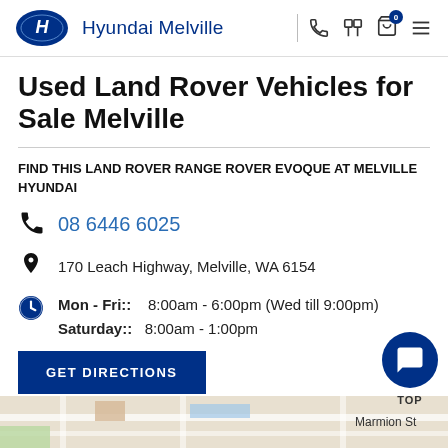Hyundai Melville
Used Land Rover Vehicles for Sale Melville
FIND THIS LAND ROVER RANGE ROVER EVOQUE AT MELVILLE HYUNDAI
08 6446 6025
170 Leach Highway, Melville, WA 6154
Mon - Fri:: 8:00am - 6:00pm (Wed till 9:00pm)
Saturday:: 8:00am - 1:00pm
GET DIRECTIONS
[Figure (map): Map showing Marmion St area near dealership location]